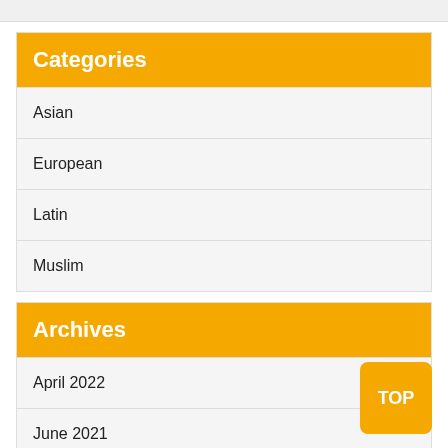Categories
Asian
European
Latin
Muslim
Archives
April 2022
June 2021